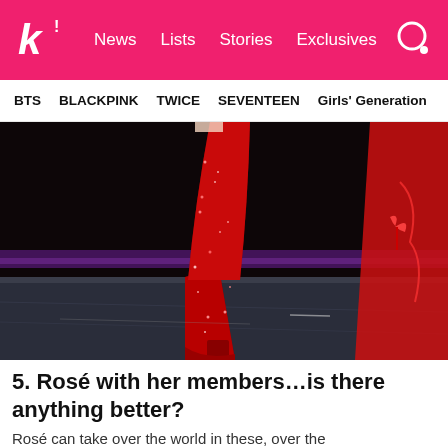k! News Lists Stories Exclusives
BTS BLACKPINK TWICE SEVENTEEN Girls' Generation
[Figure (photo): Close-up photo of a person wearing sparkling red glitter knee-high boots on a stage with dark background and purple stage lighting. A red outfit is visible on the right side.]
5. Rosé with her members…is there anything better?
Rosé can take over the world in these, over the